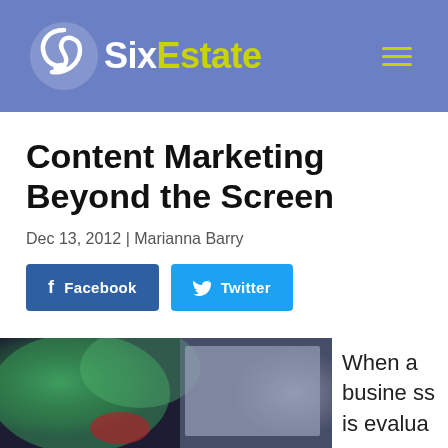SixEstate
Content Marketing Beyond the Screen
Dec 13, 2012 | Marianna Barry
[Figure (other): Facebook and Twitter social share buttons]
[Figure (photo): Blurred photo of a presentation or event screen with green and red lighting]
When a business is evalua